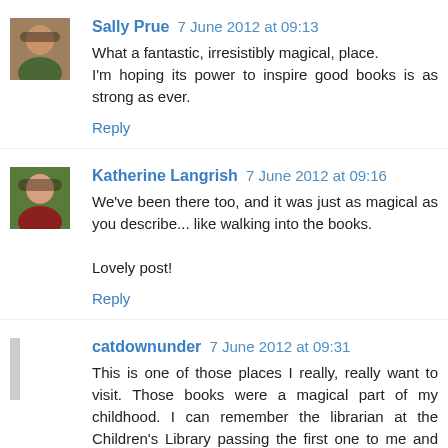Sally Prue 7 June 2012 at 09:13
What a fantastic, irresistibly magical, place.
I'm hoping its power to inspire good books is as strong as ever.
Reply
Katherine Langrish 7 June 2012 at 09:16
We've been there too, and it was just as magical as you describe... like walking into the books.

Lovely post!
Reply
catdownunder 7 June 2012 at 09:31
This is one of those places I really, really want to visit. Those books were a magical part of my childhood. I can remember the librarian at the Children's Library passing the first one to me and saying I'll think you might like this